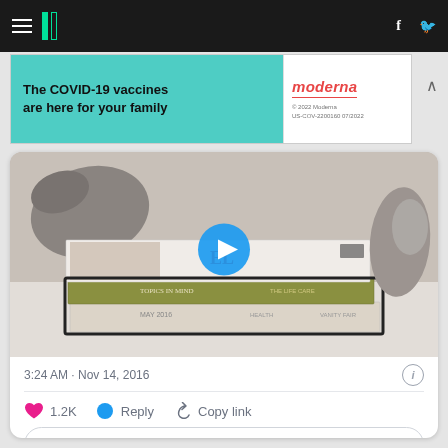HuffPost navigation with hamburger menu, logo, Facebook and Twitter icons
[Figure (screenshot): Moderna COVID-19 vaccine advertisement banner: 'The COVID-19 vaccines are here for your family' with teal background and Moderna logo]
[Figure (photo): Tweet embedded media: video thumbnail showing a cat's paw/hand holding or touching a stack of magazines including Vanity Fair and other publications, with a blue play button overlay]
3:24 AM · Nov 14, 2016
1.2K  Reply  Copy link
Read 15 replies